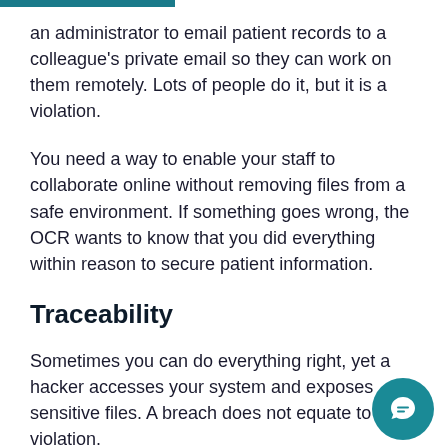an administrator to email patient records to a colleague's private email so they can work on them remotely. Lots of people do it, but it is a violation.
You need a way to enable your staff to collaborate online without removing files from a safe environment. If something goes wrong, the OCR wants to know that you did everything within reason to secure patient information.
Traceability
Sometimes you can do everything right, yet a hacker accesses your system and exposes sensitive files. A breach does not equate to a violation.
To protect your practice from penalties, you need to a comprehensive record of ePHI access. Your system should monitor user permission levels, information